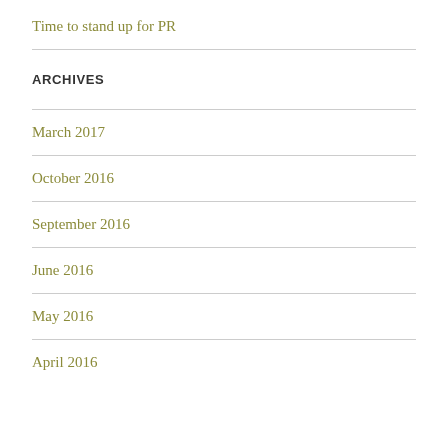Time to stand up for PR
ARCHIVES
March 2017
October 2016
September 2016
June 2016
May 2016
April 2016